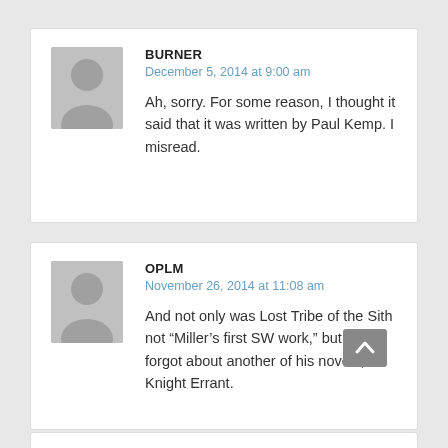BURNER
December 5, 2014 at 9:00 am
Ah, sorry. For some reason, I thought it said that it was written by Paul Kemp. I misread.
OPLM
November 26, 2014 at 11:08 am
And not only was Lost Tribe of the Sith not “Miller’s first SW work,” but you forgot about another of his novels, Knight Errant.